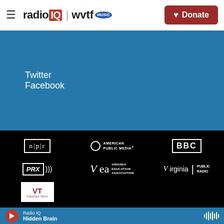radio IQ | wvtf MUSIC  Donate
Twitter
Facebook
[Figure (logo): NPR logo - white text in bordered box]
[Figure (logo): American Public Media logo - circle with text]
[Figure (logo): BBC logo - white text in bordered box]
[Figure (logo): PRX logo with wave symbols]
[Figure (logo): VEA - Virginia Education Association logo]
[Figure (logo): Virginia Public Radio logo]
[Figure (logo): Virginia Tech logo - maroon VT on white background]
Radio IQ
Hidden Brain